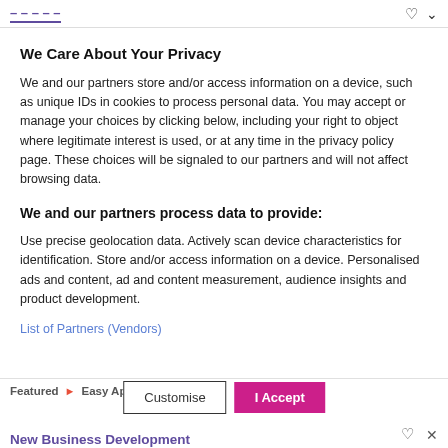We Care About Your Privacy
We Care About Your Privacy
We and our partners store and/or access information on a device, such as unique IDs in cookies to process personal data. You may accept or manage your choices by clicking below, including your right to object where legitimate interest is used, or at any time in the privacy policy page. These choices will be signaled to our partners and will not affect browsing data.
We and our partners process data to provide:
Use precise geolocation data. Actively scan device characteristics for identification. Store and/or access information on a device. Personalised ads and content, ad and content measurement, audience insights and product development.
List of Partners (Vendors)
Featured  Easy Apply   Customise   I Accept   New Business Development